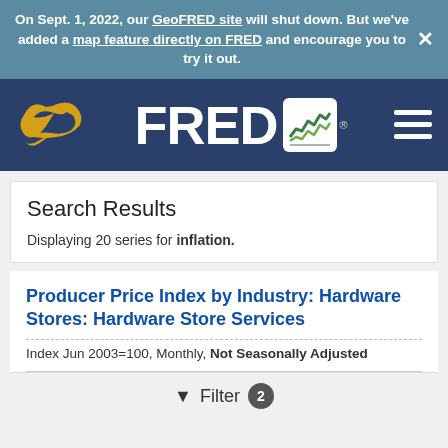On Sept. 1, 2022, our GeoFRED site will shut down. But we've added a map feature directly on FRED and encourage you to try it out. ×
[Figure (logo): FRED logo with eagle emblem and hamburger menu on dark blue navigation bar]
Search Results
Displaying 20 series for inflation.
Producer Price Index by Industry: Hardware Stores: Hardware Store Services
Index Jun 2003=100, Monthly, Not Seasonally Adjusted
Filter 2